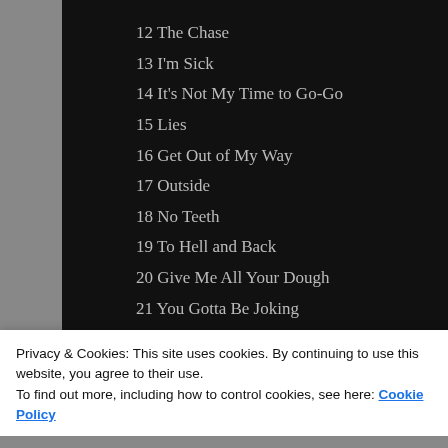12 The Chase
13 I'm Sick
14 It's Not My Time to Go-Go
15 Lies
16 Get Out of My Way
17 Outside
18 No Teeth
19 To Hell and Back
20 Give Me All Your Dough
21 You Gotta Be Joking
22 Off My Shoulders
[Figure (other): GET THE APP banner with WordPress logo icon]
Privacy & Cookies: This site uses cookies. By continuing to use this website, you agree to their use.
To find out more, including how to control cookies, see here: Cookie Policy
Close and accept